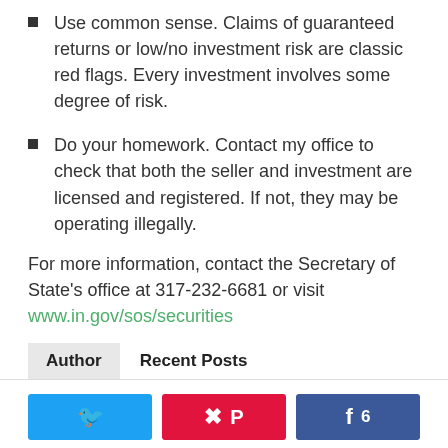Use common sense. Claims of guaranteed returns or low/no investment risk are classic red flags. Every investment involves some degree of risk.
Do your homework. Contact my office to check that both the seller and investment are licensed and registered. If not, they may be operating illegally.
For more information, contact the Secretary of State's office at 317-232-6681 or visit www.in.gov/sos/securities
Author   Recent Posts